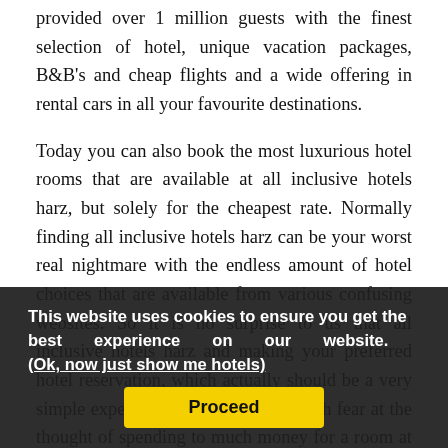provided over 1 million guests with the finest selection of hotel, unique vacation packages, B&B's and cheap flights and a wide offering in rental cars in all your favourite destinations.
Today you can also book the most luxurious hotel rooms that are available at all inclusive hotels harz, but solely for the cheapest rate. Normally finding all inclusive hotels harz can be your worst real nightmare with the endless amount of hotel choices that are available from various confusing websites. So it is no surprise to us that all inclusive hotels harz and making your preferred hotel reservation, which actually should be a very simple experience, fills most of us with fear at the thought of spending to much money for a room at all inclusive hotels harz or making the wrong room choice and eventually ending up paying way too much. But now, with the all inclusive hotels harz you do not have to worry anymore; booking a room at all inclusive hotels harz has become an absolute joy once again with this great all inclusive hotels harzoffer. Simply select your travel dates and
This website uses cookies to ensure you get the best experience on our website. (Ok, now just show me hotels)
Proceed